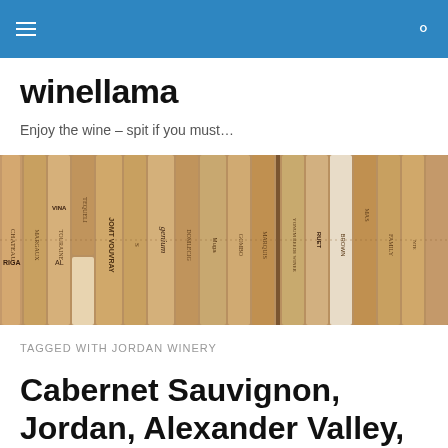winellama navigation bar
winellama
Enjoy the wine – spit if you must…
[Figure (photo): A close-up horizontal band of wine corks stamped with various winery names including Vouvray, genium, Muga, Brown, and others.]
TAGGED WITH JORDAN WINERY
Cabernet Sauvignon, Jordan, Alexander Valley, Sonoma, California, 2003, 13.5% abv.